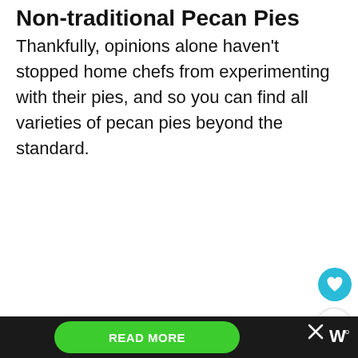Non-traditional Pecan Pies
Thankfully, opinions alone haven't stopped home chefs from experimenting with their pies, and so you can find all varieties of pecan pies beyond the standard.
[Figure (photo): Light gray image placeholder box for a pecan pie photo]
READ MORE